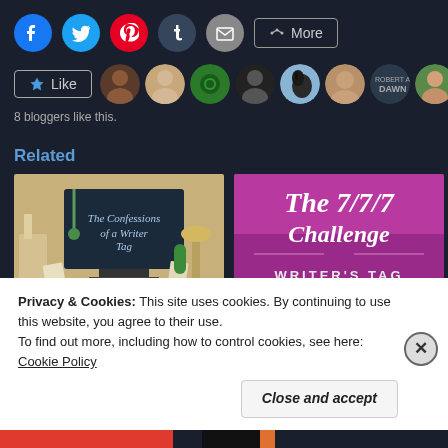[Figure (screenshot): Social share buttons row: Facebook (blue circle), Twitter (light blue circle), Pinterest (red circle), Tumblr (dark blue circle), Email (grey circle), and a More button with share icon]
[Figure (screenshot): Like button with star icon, followed by 8 blogger avatar thumbnails in a row]
8 bloggers like this.
Related
[Figure (screenshot): Thumbnail image for 'Confessions of a Writer' blog post showing a dark monitor with script text on a tan/cream background with desk items]
[Figure (screenshot): Thumbnail image for 'The 7/7/7 Challenge | A Writers' blog post with magenta/pink background and white script lettering]
"Confessions of a Writer" A
The 7/7/7 Challenge | A Writers
Privacy & Cookies: This site uses cookies. By continuing to use this website, you agree to their use.
To find out more, including how to control cookies, see here: Cookie Policy
Close and accept